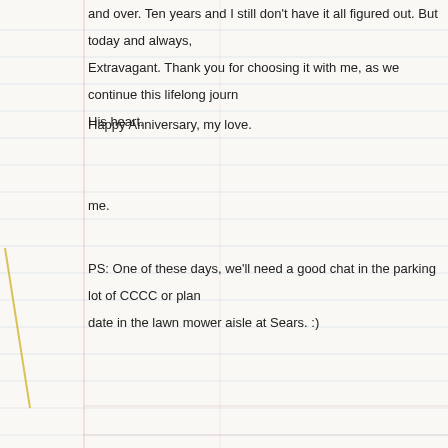and over. Ten years and I still don't have it all figured out. But today and always, Extravagant. Thank you for choosing it with me, as we continue this lifelong journ His heart.
Happy Anniversary, my love.
me.
PS: One of these days, we'll need a good chat in the parking lot of CCCC or plan date in the lawn mower aisle at Sears. :)